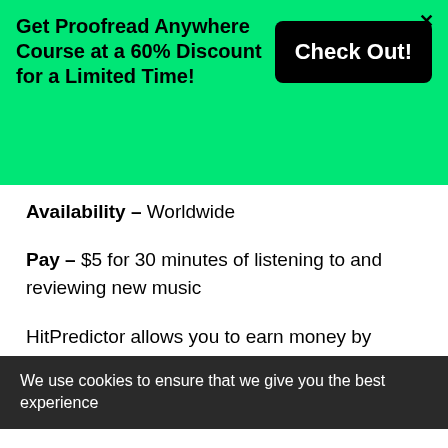Get Proofread Anywhere Course at a 60% Discount for a Limited Time!
Check Out!
Availability – Worldwide
Pay – $5 for 30 minutes of listening to and reviewing new music
HitPredictor allows you to earn money by listening to music before it is released.
That's correct!
We use cookies to ensure that we give you the best experience